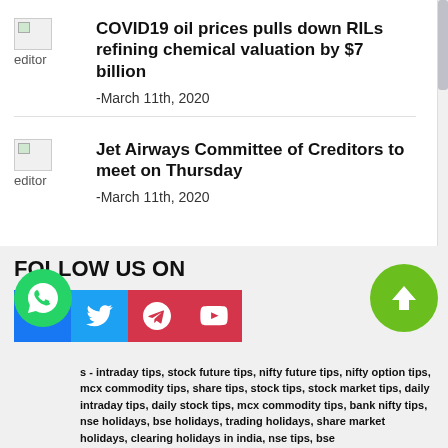COVID19 oil prices pulls down RILs refining chemical valuation by $7 billion
-March 11th, 2020
Jet Airways Committee of Creditors to meet on Thursday
-March 11th, 2020
FOLLOW US ON
s - intraday tips, stock future tips, nifty future tips, nifty option tips, mcx commodity tips, share tips, stock tips, stock market tips, daily intraday tips, daily stock tips, mcx commodity tips, bank nifty tips, nse holidays, bse holidays, trading holidays, share market holidays, clearing holidays in india, nse tips, bse